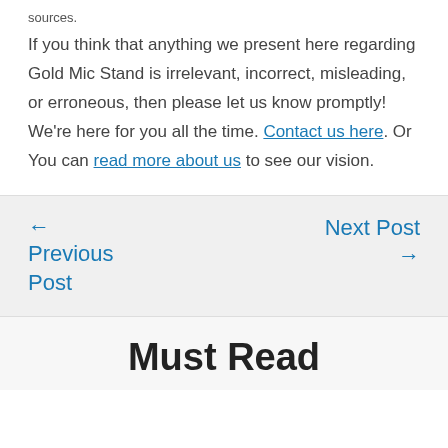sources.
If you think that anything we present here regarding Gold Mic Stand is irrelevant, incorrect, misleading, or erroneous, then please let us know promptly! We're here for you all the time. Contact us here. Or You can read more about us to see our vision.
← Previous Post
Next Post →
Must Read